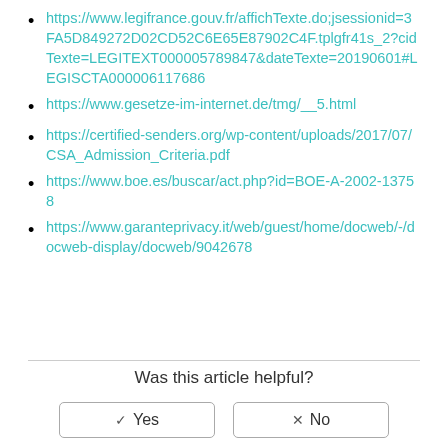https://www.legifrance.gouv.fr/affichTexte.do;jsessionid=3FA5D849272D02CD52C6E65E87902C4F.tplgfr41s_2?cidTexte=LEGITEXT000005789847&dateTexte=20190601#LEGISCTA000006117686
https://www.gesetze-im-internet.de/tmg/__5.html
https://certified-senders.org/wp-content/uploads/2017/07/CSA_Admission_Criteria.pdf
https://www.boe.es/buscar/act.php?id=BOE-A-2002-13758
https://www.garanteprivacy.it/web/guest/home/docweb/-/docweb-display/docweb/9042678
Was this article helpful?